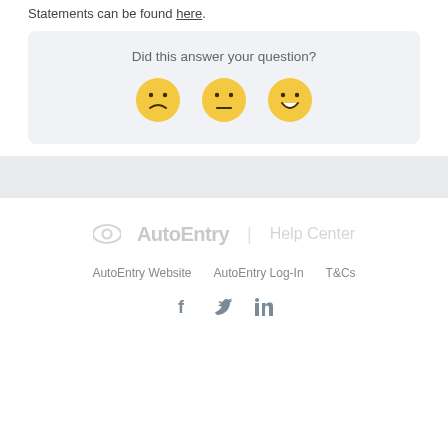Statements can be found here.
Did this answer your question?
[Figure (illustration): Three emoji faces: sad, neutral, and happy, for user feedback rating]
[Figure (logo): AutoEntry Help Center logo with eye icon]
AutoEntry Website   AutoEntry Log-In   T&Cs
[Figure (illustration): Social media icons: Facebook, Twitter, LinkedIn]